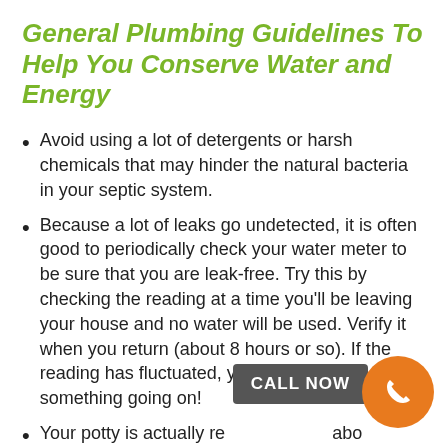General Plumbing Guidelines To Help You Conserve Water and Energy
Avoid using a lot of detergents or harsh chemicals that may hinder the natural bacteria in your septic system.
Because a lot of leaks go undetected, it is often good to periodically check your water meter to be sure that you are leak-free. Try this by checking the reading at a time you'll be leaving your house and no water will be used. Verify it when you return (about 8 hours or so). If the reading has fluctuated, you might have something going on!
Your potty is actually responsible for about 30 percent of your home's total water usage.